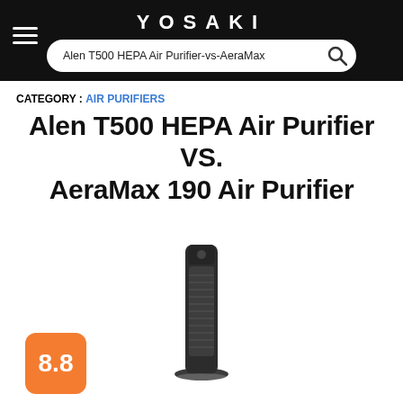YOSAKI
Alen T500 HEPA Air Purifier-vs-AeraMax
CATEGORY : AIR PURIFIERS
Alen T500 HEPA Air Purifier VS. AeraMax 190 Air Purifier
[Figure (photo): Product photo of AeraMax 190 Air Purifier tower unit in dark grey/black color]
8.8